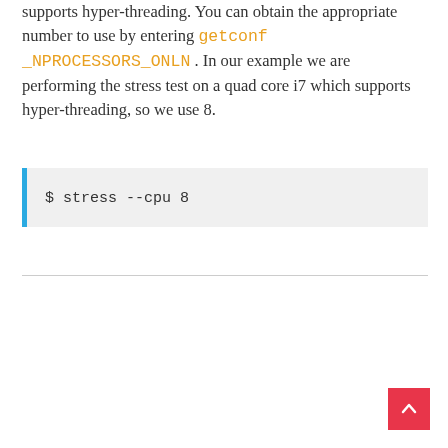supports hyper-threading. You can obtain the appropriate number to use by entering getconf _NPROCESSORS_ONLN . In our example we are performing the stress test on a quad core i7 which supports hyper-threading, so we use 8.
$ stress --cpu 8
[Figure (other): Back to top button (red square with upward arrow)]